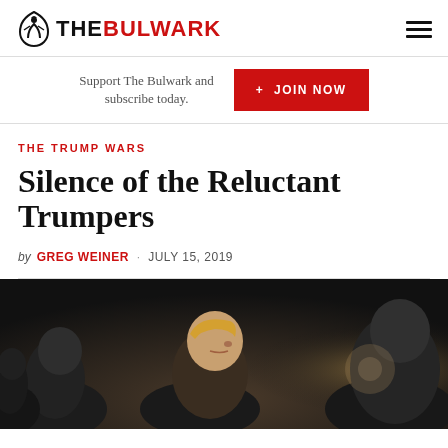THE BULWARK
Support The Bulwark and subscribe today.
+ JOIN NOW
THE TRUMP WARS
Silence of the Reluctant Trumpers
by GREG WEINER · JULY 15, 2019
[Figure (photo): A photo of political figures including Trump visible in profile, taken at an event. Dark background with blurred figures in foreground and background.]